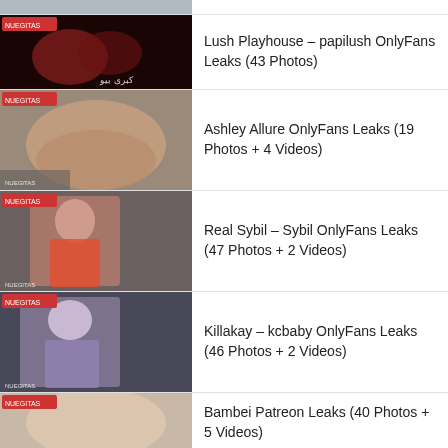Lush Playhouse – papilush OnlyFans Leaks (43 Photos)
Ashley Allure OnlyFans Leaks (19 Photos + 4 Videos)
Real Sybil – Sybil OnlyFans Leaks (47 Photos + 2 Videos)
Killakay – kcbaby OnlyFans Leaks (46 Photos + 2 Videos)
Bambei Patreon Leaks (40 Photos + 5 Videos)